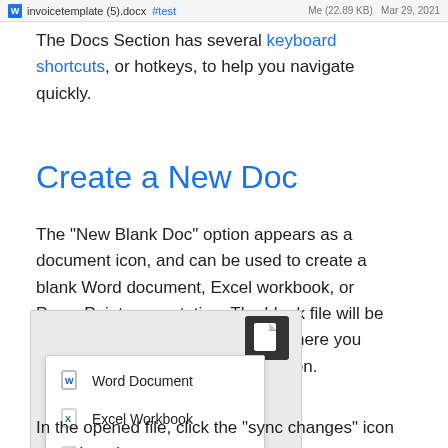invoicetemplate (5).docx  #test  Me (22.89 KB)  Mar 29, 2021
The Docs Section has several keyboard shortcuts, or hotkeys, to help you navigate quickly.
Create a New Doc
The “New Blank Doc” option appears as a document icon, and can be used to create a blank Word document, Excel workbook, or PowerPoint presentation. The blank file will be saved in the folder of the project where you selected the “New Blank Doc” button.
[Figure (screenshot): Screenshot of a dropdown menu showing three options: Word Document, Excel Workbook, PowerPoint Presentation, each with a corresponding file icon. A dark document icon button is visible in the top-right of the background area.]
In the opened file, click the “sync changes” icon to update the